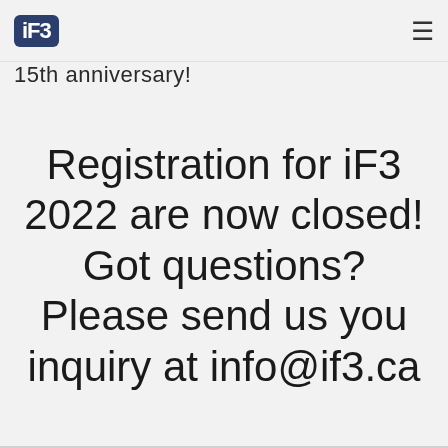iF3 [logo] ☰
15th anniversary!
Registration for iF3 2022 are now closed! Got questions? Please send us you inquiry at info@if3.ca